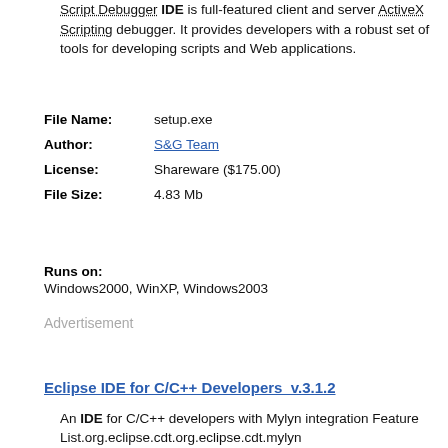Script Debugger IDE is full-featured client and server ActiveX Scripting debugger. It provides developers with a robust set of tools for developing scripts and Web applications.
| File Name: | setup.exe |
| Author: | S&G Team |
| License: | Shareware ($175.00) |
| File Size: | 4.83 Mb |
| Runs on: | Windows2000, WinXP, Windows2003 |
Advertisement
Eclipse IDE for C/C++ Developers  v.3.1.2
An IDE for C/C++ developers with Mylyn integration Feature List.org.eclipse.cdt.org.eclipse.cdt.mylyn